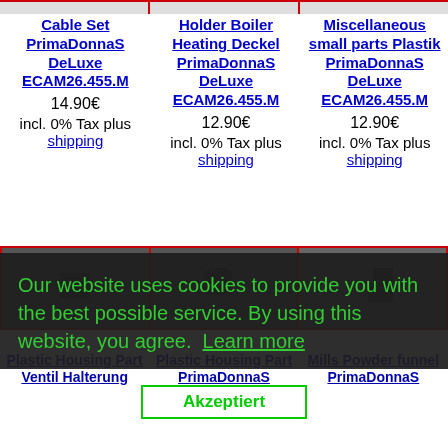[Figure (photo): Top strip of three product images partially visible]
Cable Set PrimaDonnaS DeLuxe ECAM26.455.M
14.90€ incl. 0% Tax plus shipping
Holder Boiler Heating Deckel PrimaDonnaS DeLuxe ECAM26.455.M
12.90€ incl. 0% Tax plus shipping
Miscellaneous small parts Plastik PrimaDonnaS DeLuxe ECAM26.455.M
12.90€ incl. 0% Tax plus shipping
[Figure (photo): Three dark product images in a row (housing parts)]
Our website uses cookies to provide you with the best possible service. By using this website, you agree. Learn more
Plastic Housing Part Ventil Halterung PrimaDonnaS DeLuxe
Plastic Housing Part PrimaDonnaS DeLuxe ECAM26.455.M
Mills Powder funnel PrimaDonnaS DeLuxe ECAM26.455.M
Akzeptiert